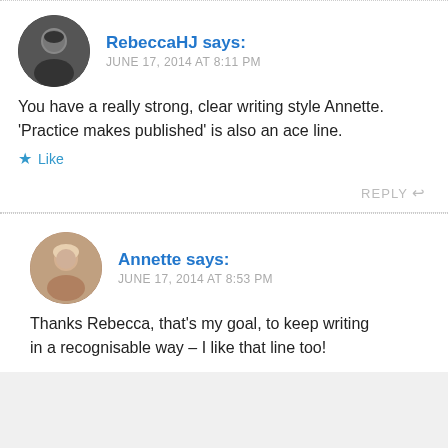[Figure (photo): Round avatar photo of RebeccaHJ, a person with dark hair, black and white photo]
RebeccaHJ says:
JUNE 17, 2014 AT 8:11 PM
You have a really strong, clear writing style Annette. 'Practice makes published' is also an ace line.
★ Like
REPLY ↩
[Figure (photo): Round avatar photo of Annette, a person with light hair, color photo]
Annette says:
JUNE 17, 2014 AT 8:53 PM
Thanks Rebecca, that's my goal, to keep writing in a recognisable way – I like that line too!